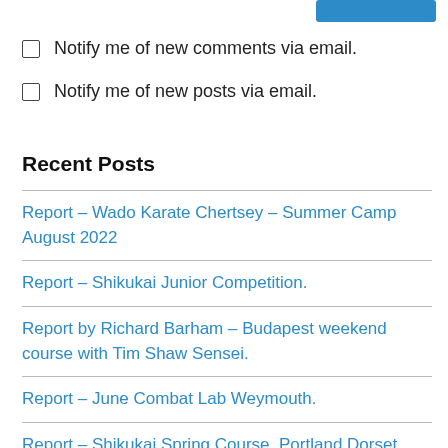Notify me of new comments via email.
Notify me of new posts via email.
Recent Posts
Report – Wado Karate Chertsey – Summer Camp August 2022
Report – Shikukai Junior Competition.
Report by Richard Barham – Budapest weekend course with Tim Shaw Sensei.
Report – June Combat Lab Weymouth.
Report – Shikukai Spring Course, Portland Dorset.